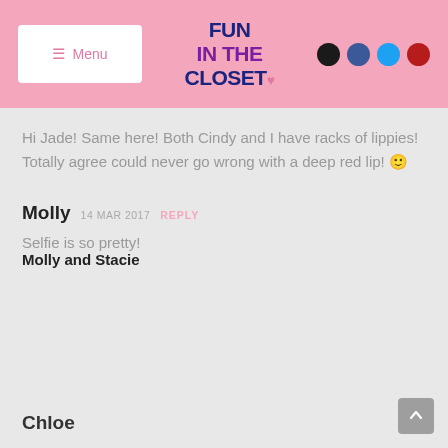Menu | Fun In The Closet | [social icons]
Hi Jade! Same here! Both Cindy and I have racks of lippies! Totally agree could never go wrong with a deep red lip! 🙂
Molly  14 MAR 2017  REPLY
Selfie is so pretty!
Molly and Stacie
Chloe